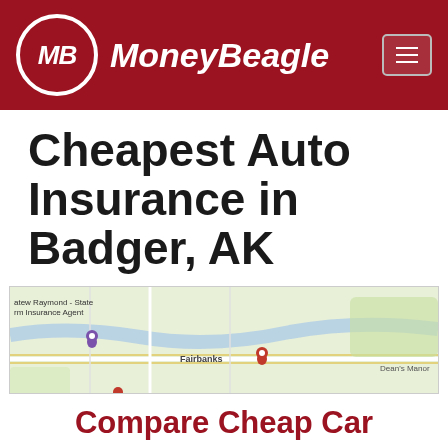MoneyBeagle
Cheapest Auto Insurance in Badger, AK
[Figure (map): Google Maps view showing Fairbanks, Alaska area with map pins including a purple pin and a red pin, with labels for Fairbanks, Dean's Manor, and a State Farm Insurance Agent location.]
Compare Cheap Car Insurance Quotes Now
Enter Zip
Get Rates >